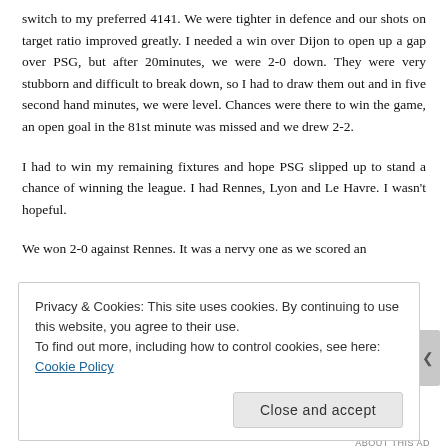switch to my preferred 4141. We were tighter in defence and our shots on target ratio improved greatly. I needed a win over Dijon to open up a gap over PSG, but after 20minutes, we were 2-0 down. They were very stubborn and difficult to break down, so I had to draw them out and in five second hand minutes, we were level. Chances were there to win the game, an open goal in the 81st minute was missed and we drew 2-2.
I had to win my remaining fixtures and hope PSG slipped up to stand a chance of winning the league. I had Rennes, Lyon and Le Havre. I wasn't hopeful.
We won 2-0 against Rennes. It was a nervy one as we scored an
Privacy & Cookies: This site uses cookies. By continuing to use this website, you agree to their use.
To find out more, including how to control cookies, see here: Cookie Policy